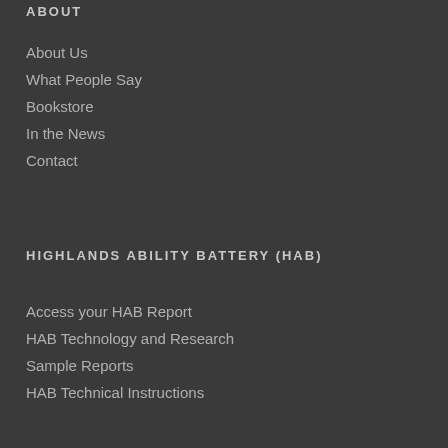ABOUT
About Us
What People Say
Bookstore
In the News
Contact
HIGHLANDS ABILITY BATTERY (HAB)
Access your HAB Report
HAB Technology and Research
Sample Reports
HAB Technical Instructions